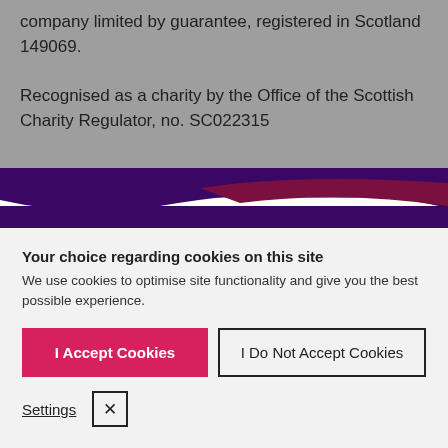company limited by guarantee, registered in Scotland 149069.
Recognised as a charity by the Office of the Scottish Charity Regulator, no. SC022315
[Figure (illustration): Decorative wave graphic with purple, dark red and grey bands separating the grey top section from the white cookie consent section below.]
Your choice regarding cookies on this site
We use cookies to optimise site functionality and give you the best possible experience.
I Accept Cookies
I Do Not Accept Cookies
Settings
X